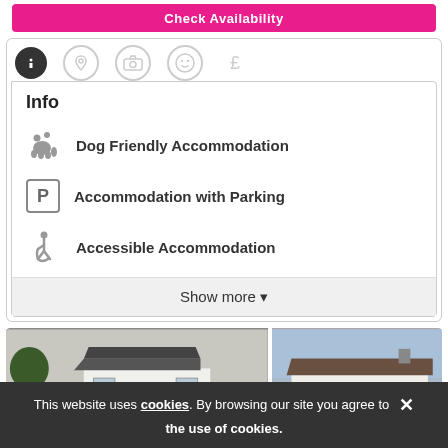Check Availability
[Figure (screenshot): Tab icons row: info (active, dark circle), location pin, camera, smiley face, pound sign]
Info
Dog Friendly Accommodation
Accommodation with Parking
Accessible Accommodation
Show more ▾
[Figure (photo): Two photos of white bungalow-style holiday cottages with trees and gardens]
Categories
This website uses cookies. By browsing our site you agree to the use of cookies.